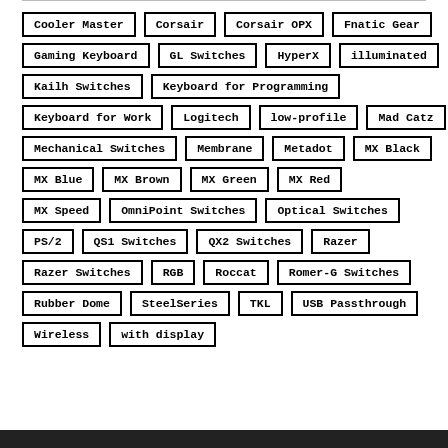Cooler Master
Corsair
Corsair OPX
Fnatic Gear
Gaming Keyboard
GL Switches
HyperX
illuminated
Kailh Switches
Keyboard for Programming
Keyboard for Work
Logitech
low-profile
Mad Catz
Mechanical Switches
Membrane
Metadot
MX Black
MX Blue
MX Brown
MX Green
MX Red
MX Speed
OmniPoint Switches
Optical Switches
PS/2
QS1 Switches
QX2 Switches
Razer
Razer Switches
RGB
Roccat
Romer-G Switches
Rubber Dome
SteelSeries
TKL
USB Passthrough
Wireless
with display